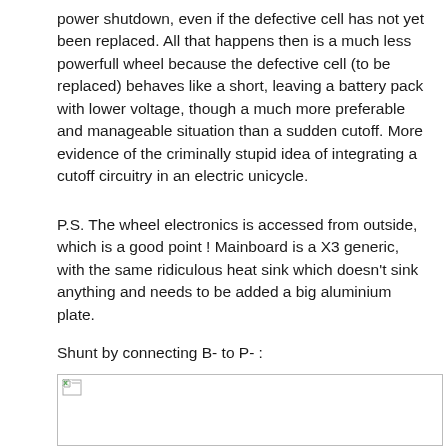power shutdown, even if the defective cell has not yet been replaced. All that happens then is a much less powerfull wheel because the defective cell (to be replaced) behaves like a short, leaving a battery pack with lower voltage, though a much more preferable and manageable situation than a sudden cutoff. More evidence of the criminally stupid idea of integrating a cutoff circuitry in an electric unicycle.
P.S. The wheel electronics is accessed from outside, which is a good point ! Mainboard is a X3 generic, with the same ridiculous heat sink which doesn't sink anything and needs to be added a big aluminium plate.
Shunt by connecting B- to P- :
[Figure (photo): A broken/missing image placeholder shown as a small icon with a torn page symbol in the top-left corner of a bordered white rectangle.]